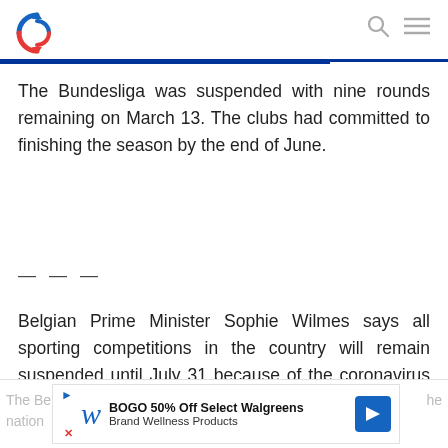The Bundesliga was suspended with nine rounds remaining on March 13. The clubs had committed to finishing the season by the end of June.
— — —
Belgian Prime Minister Sophie Wilmes says all sporting competitions in the country will remain suspended until July 31 because of the coronavirus pandemic.
The Be[...] he nation[x] | BOGO 50% Off Select Walgreens Brand Wellness Products